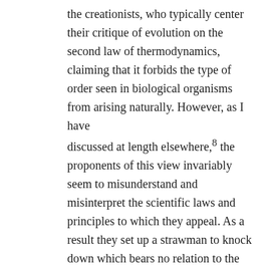the creationists, who typically center their critique of evolution on the second law of thermodynamics, claiming that it forbids the type of order seen in biological organisms from arising naturally. However, as I have discussed at length elsewhere,8 the proponents of this view invariably seem to misunderstand and misinterpret the scientific laws and principles to which they appeal. As a result they set up a strawman to knock down which bears no relation to the true laws and the physical reality they describe. Nonetheless if one could demonstrate that man (or living creatures generally) violated some physical law; or that any type of evolution would violate such a law, then at one stroke reductionism would be discredited and religion would score a triumphant